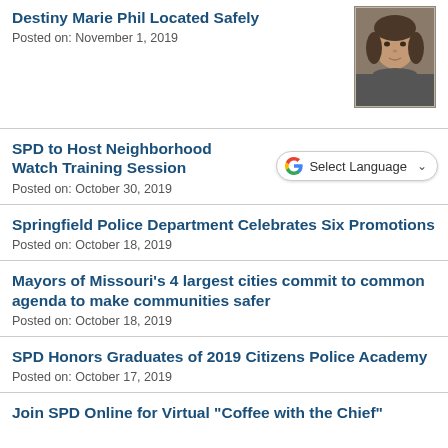Destiny Marie Phil Located Safely
Posted on: November 1, 2019
[Figure (photo): Headshot photo of a young woman with shoulder-length dark hair, wearing a dark top]
SPD to Host Neighborhood Watch Training Session
Posted on: October 30, 2019
[Figure (other): Google Translate Select Language widget with G logo and dropdown arrow]
Springfield Police Department Celebrates Six Promotions
Posted on: October 18, 2019
Mayors of Missouri's 4 largest cities commit to common agenda to make communities safer
Posted on: October 18, 2019
SPD Honors Graduates of 2019 Citizens Police Academy
Posted on: October 17, 2019
Join SPD Online for Virtual "Coffee with the Chief"